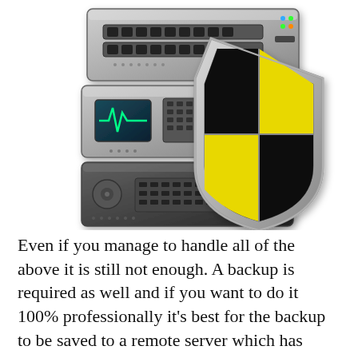[Figure (illustration): An illustration of a server rack with three units stacked, overlaid with a security shield icon divided into four quadrants — two black and two yellow — with a metallic gray border.]
Even if you manage to handle all of the above it is still not enough. A backup is required as well and if you want to do it 100% professionally it's best for the backup to be saved to a remote server which has nothing to do with the server your